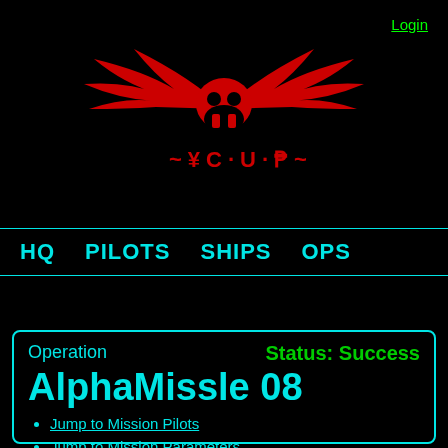[Figure (logo): Red winged skull logo with text 'HEIR' or similar stylized text below, on black background]
Login
HQ  PILOTS  SHIPS  OPS
List All
Operation
Status: Success
AlphaMissle 08
Jump to Mission Pilots
Jump to Mission Parameters
Jump to Mission Images